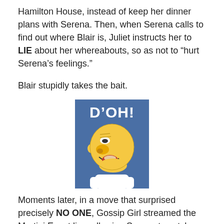Hamilton House, instead of keep her dinner plans with Serena.  Then, when Serena calls to find out where Blair is, Juliet instructs her to LIE about her whereabouts, so as not to “hurt Serena’s feelings.”
Blair stupidly takes the bait.
[Figure (illustration): Homer Simpson from The Simpsons making a D'OH face, with large blue background and white bold text 'D'OH!' at the top]
Moments later, in a move that surprised precisely NO ONE, Gossip Girl streamed the Martini Event live, allowing Serena to catch Blair in her fib.  (It was at this moment, Boys and Girls, that I became pretty certain that Juliet was